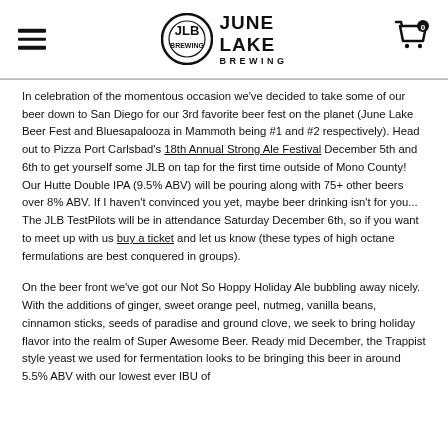June Lake Brewing — navigation header with logo and cart
In celebration of the momentous occasion we've decided to take some of our beer down to San Diego for our 3rd favorite beer fest on the planet (June Lake Beer Fest and Bluesapalooza in Mammoth being #1 and #2 respectively).  Head out to Pizza Port Carlsbad's 18th Annual Strong Ale Festival December 5th and 6th to get yourself some JLB on tap for the first time outside of Mono County!  Our Hutte Double IPA (9.5% ABV) will be pouring along with 75+ other beers over 8% ABV.  If I haven't convinced you yet, maybe beer drinking isn't for you...  The JLB TestPilots will be in attendance Saturday December 6th, so if you want to meet up with us buy a ticket and let us know (these types of high octane fermulations are best conquered in groups).
On the beer front we've got our Not So Hoppy Holiday Ale bubbling away nicely.  With the additions of ginger, sweet orange peel, nutmeg, vanilla beans, cinnamon sticks, seeds of paradise and ground clove, we seek to bring holiday flavor into the realm of Super Awesome Beer.  Ready mid December, the Trappist style yeast we used for fermentation looks to be bringing this beer in around 5.5% ABV with our lowest ever IBU of